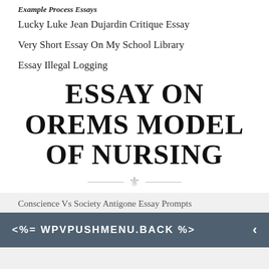Example Process Essays
Lucky Luke Jean Dujardin Critique Essay
Very Short Essay On My School Library
Essay Illegal Logging
ESSAY ON OREMS MODEL OF NURSING
Conscience Vs Society Antigone Essay Prompts
<%= WPVPUSHMENU.BACK %>